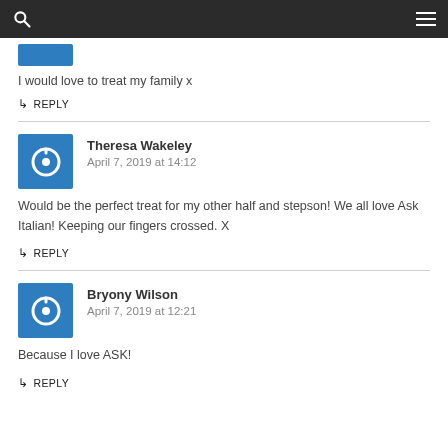I would love to treat my family x
↳ REPLY
Theresa Wakeley
April 7, 2019 at 14:12
Would be the perfect treat for my other half and stepson! We all love Ask Italian! Keeping our fingers crossed. X
↳ REPLY
Bryony Wilson
April 7, 2019 at 12:21
Because I love ASK!
↳ REPLY